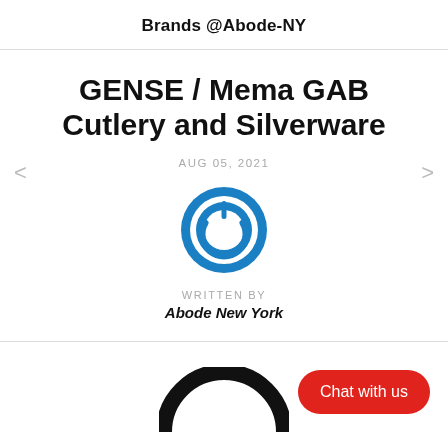Brands @Abode-NY
GENSE / Mema GAB Cutlery and Silverware
AUG 05, 2021
[Figure (logo): Blue circular power button logo icon]
WRITTEN BY
Abode New York
Chat with us
[Figure (logo): Partial black circular logo visible at bottom]